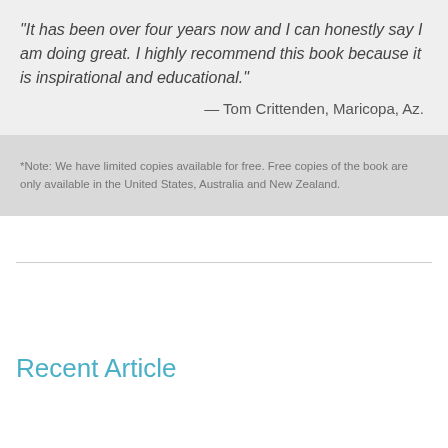"It has been over four years now and I can honestly say I am doing great. I highly recommend this book because it is inspirational and educational."
— Tom Crittenden, Maricopa, Az.
*Note: We have limited copies available for free. Free copies of the book are only available in the United States, Australia and New Zealand.
Recent Article